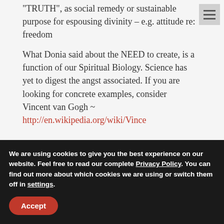“TRUTH”, as social remedy or sustainable purpose for espousing divinity – e.g. attitude re: freedom
What Donia said about the NEED to create, is a function of our Spiritual Biology. Science has yet to digest the angst associated. If you are looking for concrete examples, consider Vincent van Gogh ~ http://en.wikipedia.org/wiki/Vince
We are using cookies to give you the best experience on our website. Feel free to read our complete Privacy Policy. You can find out more about which cookies we are using or switch them off in settings.
Accept